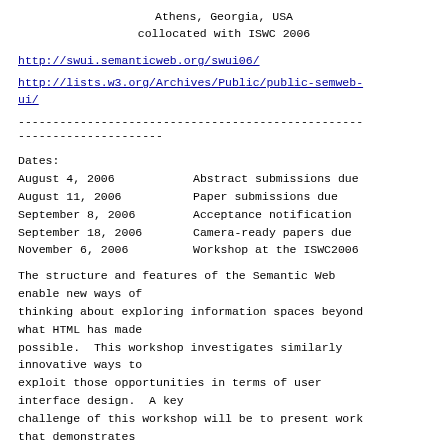Athens, Georgia, USA
collocated with ISWC 2006
http://swui.semanticweb.org/swui06/
http://lists.w3.org/Archives/Public/public-semweb-ui/
--------------------------------------------------------------------------
---------------------
Dates:
August 4, 2006       Abstract submissions due
August 11, 2006      Paper submissions due
September 8, 2006    Acceptance notification
September 18, 2006   Camera-ready papers due
November 6, 2006     Workshop at the ISWC2006
The structure and features of the Semantic Web enable new ways of thinking about exploring information spaces beyond what HTML has made possible.  This workshop investigates similarly innovative ways to exploit those opportunities in terms of user interface design.  A key challenge of this workshop will be to present work that demonstrates interaction and visualization opportunities that are only now made